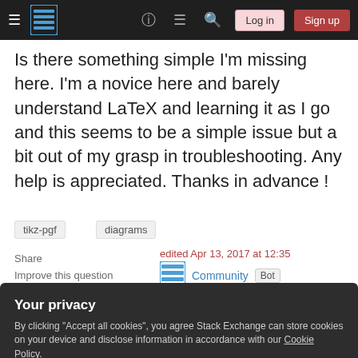Stack Exchange navigation bar with hamburger menu, logo, help, chat, search icons, Log in and Sign up buttons
Is there something simple I'm missing here. I'm a novice here and barely understand LaTeX and learning it as I go and this seems to be a simple issue but a bit out of my grasp in troubleshooting. Any help is appreciated. Thanks in advance !
tikz-pgf
diagrams
Share
Improve this question
Follow
edited Apr 13, 2017 at 12:35
Community Bot
1
Your privacy
By clicking "Accept all cookies", you agree Stack Exchange can store cookies on your device and disclose information in accordance with our Cookie Policy.
Accept all cookies  Customize settings
code hosted somewhere else, please make your